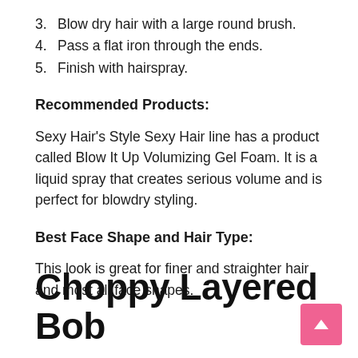3. Blow dry hair with a large round brush.
4. Pass a flat iron through the ends.
5. Finish with hairspray.
Recommended Products:
Sexy Hair's Style Sexy Hair line has a product called Blow It Up Volumizing Gel Foam. It is a liquid spray that creates serious volume and is perfect for blowdry styling.
Best Face Shape and Hair Type:
This look is great for finer and straighter hair and most all face shapes.
Choppy Layered Bob